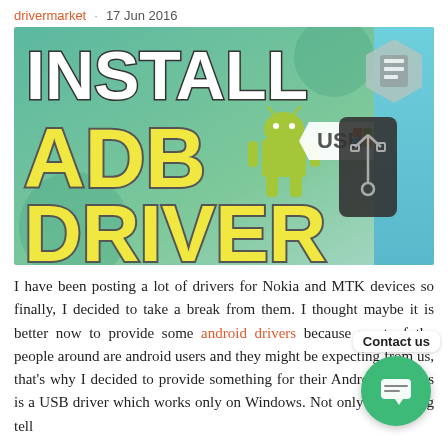drivermarket · 17 Jun 2016
[Figure (illustration): Banner image showing 'Install ADB Driver' text with Android robot mascot, USB icon, and USB device graphic on a teal/green background]
I have been posting a lot of drivers for Nokia and MTK devices so finally, I decided to take a break from them. I thought maybe it is better now to provide some android drivers because most of the people around are android users and they might be expecting from us, that's why I decided to provide something for their Android and this is a USB driver which works only on Windows. Not only I am going tell